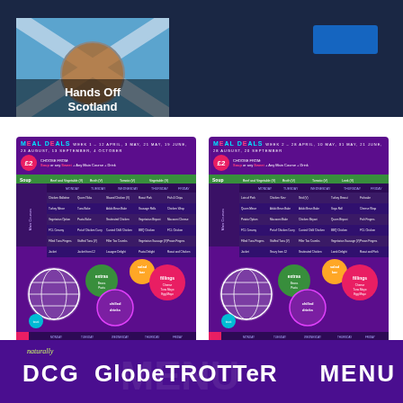[Figure (photo): Scotland flag with globe/football overlay and 'Hands Off Scotland' text, on dark navy banner background with blue button top right]
[Figure (infographic): Left meal deal card Week 1 - purple background with meal deal table, circles for extras/fillings/chilled drinks/salad bar, and sweets section at bottom. Price £2.]
[Figure (infographic): Right meal deal card Week 2 - purple background with meal deal table, circles for extras/fillings/chilled drinks/salad bar, and sweets section at bottom. Price £2.]
Think Allergy! Food Allergies and Intolerances: Before you order your food and drink please speak to a member of the Catering Team. If you want to know about the ingredients we use.
Think Allergy! Food Allergies and Intolerances: Before you order your food and drink please speak to a member of the Catering Team. If you want to know about the ingredients we use.
[Figure (infographic): Bottom section showing purple background with 'naturally DCG GlobeTROTTeR MENU' text in large white font with lime green 'naturally' cursive above]